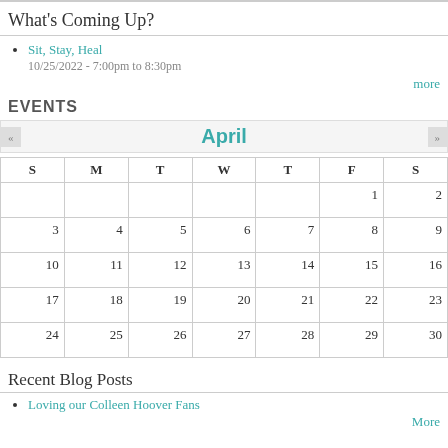What's Coming Up?
Sit, Stay, Heal
10/25/2022 - 7:00pm to 8:30pm
more
EVENTS
[Figure (other): April calendar widget showing a monthly calendar grid with days S M T W T F S and dates 1-30 for April]
Recent Blog Posts
Loving our Colleen Hoover Fans
More